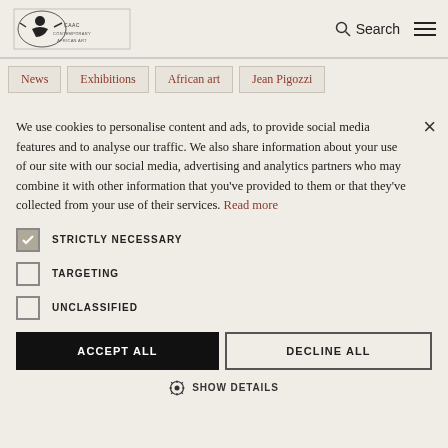[Logo] Search ☰
News
Exhibitions
African art
Jean Pigozzi
We use cookies to personalise content and ads, to provide social media features and to analyse our traffic. We also share information about your use of our site with our social media, advertising and analytics partners who may combine it with other information that you've provided to them or that they've collected from your use of their services. Read more
STRICTLY NECESSARY
TARGETING
UNCLASSIFIED
ACCEPT ALL
DECLINE ALL
SHOW DETAILS